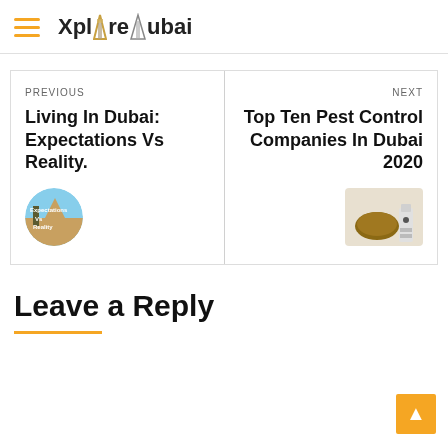XplOre Dubai
PREVIOUS
Living In Dubai: Expectations Vs Reality.
[Figure (photo): Circular thumbnail image for the article Living In Dubai: Expectations Vs Reality, showing a desert scene.]
NEXT
Top Ten Pest Control Companies In Dubai 2020
[Figure (photo): Rounded rectangular thumbnail image for the article Top Ten Pest Control Companies In Dubai 2020, showing a pest control related image.]
Leave a Reply